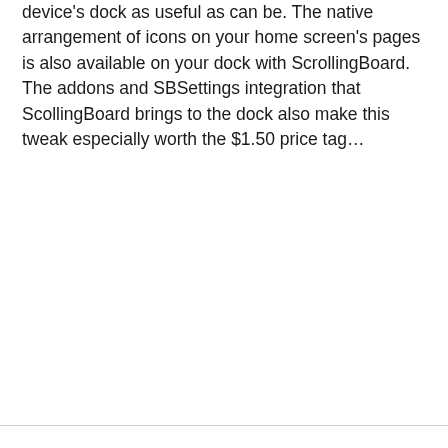device's dock as useful as can be. The native arrangement of icons on your home screen's pages is also available on your dock with ScrollingBoard. The addons and SBSettings integration that ScollingBoard brings to the dock also make this tweak especially worth the $1.50 price tag…